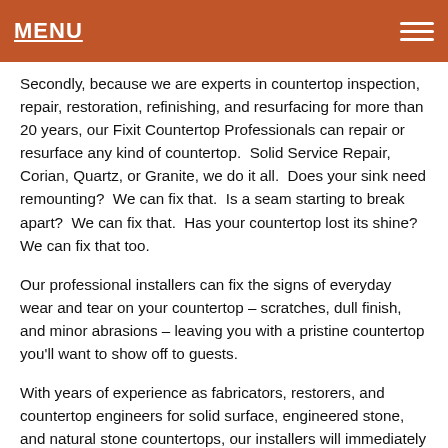MENU
Secondly, because we are experts in countertop inspection, repair, restoration, refinishing, and resurfacing for more than 20 years, our Fixit Countertop Professionals can repair or resurface any kind of countertop.  Solid Service Repair, Corian, Quartz, or Granite, we do it all.  Does your sink need remounting?  We can fix that.  Is a seam starting to break apart?  We can fix that.  Has your countertop lost its shine?  We can fix that too.
Our professional installers can fix the signs of everyday wear and tear on your countertop – scratches, dull finish, and minor abrasions – leaving you with a pristine countertop you'll want to show off to guests.
With years of experience as fabricators, restorers, and countertop engineers for solid surface, engineered stone, and natural stone countertops, our installers will immediately give you the confidence that the finished work will be up to our–and your–rigid standards.